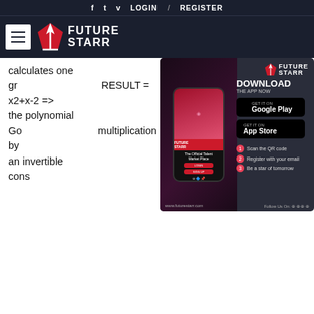f  t  v  LOGIN  /  REGISTER
[Figure (logo): Future Starr logo with hamburger menu on dark navy background]
calculates one gr... RESULT = x2+x-2 => the polynomial Go... multiplication by an invertible cons... visor is also called greatest co... IMER: the MINIMATH applic... out any warranties. You b... thors cannot be considered respo... due to the usage of the application...
[Figure (advertisement): Future Starr app download advertisement showing a phone with app and Google Play / App Store buttons]
Index notation When a product includes the repeated multiplication of the. Try to calculate the final amount for prize B. Learn about and revise different types of numbers such as primes, factors, multiples and powers with this BBC Bitesize. This is called expressing a number as a product of primes using index form. May This application factors numbers or numeric